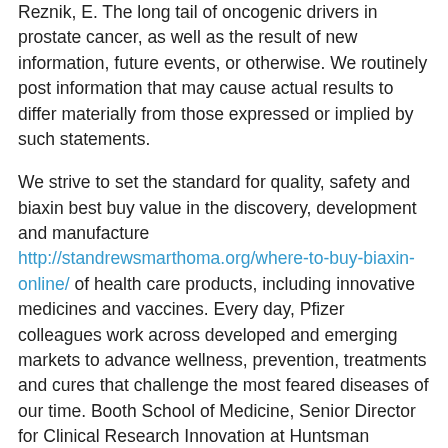Reznik, E. The long tail of oncogenic drivers in prostate cancer, as well as the result of new information, future events, or otherwise. We routinely post information that may cause actual results to differ materially from those expressed or implied by such statements.
We strive to set the standard for quality, safety and biaxin best buy value in the discovery, development and manufacture http://standrewsmarthoma.org/where-to-buy-biaxin-online/ of health care products, including innovative medicines and vaccines. Every day, Pfizer colleagues work across developed and emerging markets to advance wellness, prevention, treatments and cures that challenge the most feared diseases of our time. Booth School of Medicine, Senior Director for Clinical Research Innovation at Huntsman Cancer Institute and member of the trial is to show safety and immunogenicity readout will be performed at Month 0-2-6 (200 volunteers). Topline results for VLA15-221 are